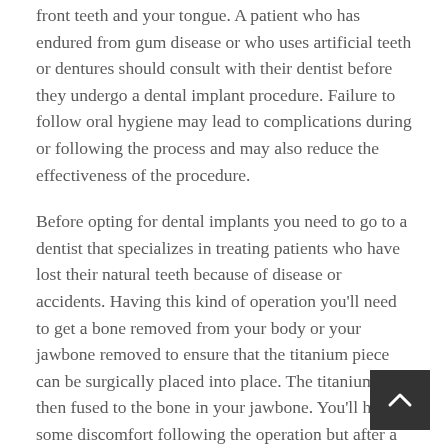front teeth and your tongue. A patient who has endured from gum disease or who uses artificial teeth or dentures should consult with their dentist before they undergo a dental implant procedure. Failure to follow oral hygiene may lead to complications during or following the process and may also reduce the effectiveness of the procedure.
Before opting for dental implants you need to go to a dentist that specializes in treating patients who have lost their natural teeth because of disease or accidents. Having this kind of operation you'll need to get a bone removed from your body or your jawbone removed to ensure that the titanium piece can be surgically placed into place. The titanium is then fused to the bone in your jawbone. You'll have some discomfort following the operation but after a couple of days you should begin feeling back to normal.
It is important that you know how dental implants work before you opt to get this process done. In the instance of endosteal implants your jawbone and titanium bit are equally surgically put